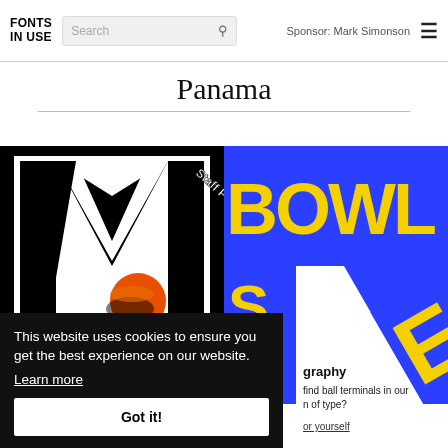FONTS IN USE | Search | Sponsor: Mark Simonson
Panama
[Figure (photo): Black and white graphic design image featuring a large bold M letterform on black background, with an orange circle accent, and a diagonal 'Staff Pick' badge in white text]
[Figure (illustration): Bold typographic design with blue background and large yellow letters spelling BOWL and STEG in an overlapping, rotated layout]
This website uses cookies to ensure you get the best experience on our website.
Learn more
Got it!
graphy
find ball terminals in our n of type?
or yourself